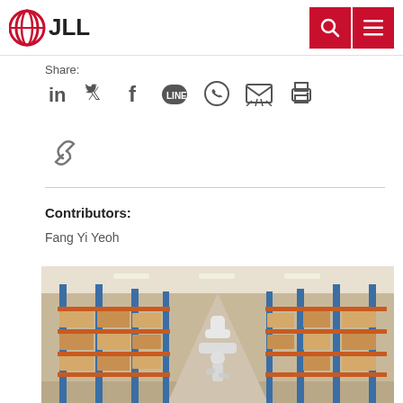JLL
Share:
[Figure (screenshot): Social sharing icons: LinkedIn, Twitter, Facebook, LINE, WhatsApp, Email, Print, and a link/copy icon]
Contributors:
Fang Yi Yeoh
[Figure (photo): A warehouse interior with tall blue metal shelving racks stocked with cardboard boxes. A white robotic arm is visible in the center aisle.]